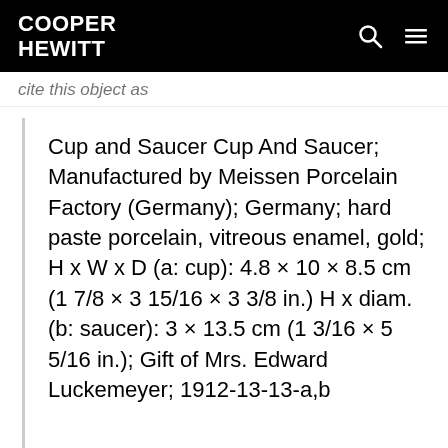COOPER HEWITT
cite this object as
Cup and Saucer Cup And Saucer; Manufactured by Meissen Porcelain Factory (Germany); Germany; hard paste porcelain, vitreous enamel, gold; H x W x D (a: cup): 4.8 × 10 × 8.5 cm (1 7/8 × 3 15/16 × 3 3/8 in.) H x diam. (b: saucer): 3 × 13.5 cm (1 3/16 × 5 5/16 in.); Gift of Mrs. Edward Luckemeyer; 1912-13-13-a,b